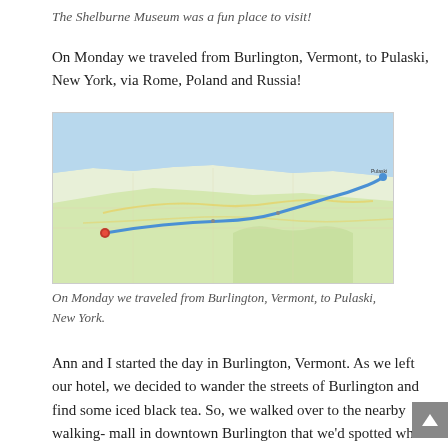The Shelburne Museum was a fun place to visit!
On Monday we traveled from Burlington, Vermont, to Pulaski, New York, via Rome, Poland and Russia!
[Figure (map): Google Maps route map showing a driving route from Burlington, Vermont area to Pulaski, New York, passing through Rome, Poland and Russia, NY. The route is shown as a blue line going westward along the south shore of Lake Ontario, with a red pin at the start and another marker at the destination.]
On Monday we traveled from Burlington, Vermont, to Pulaski, New York.
Ann and I started the day in Burlington, Vermont. As we left our hotel, we decided to wander the streets of Burlington and find some iced black tea. So, we walked over to the nearby walking-mall in downtown Burlington that we'd spotted when we arrived on Sunday evening.